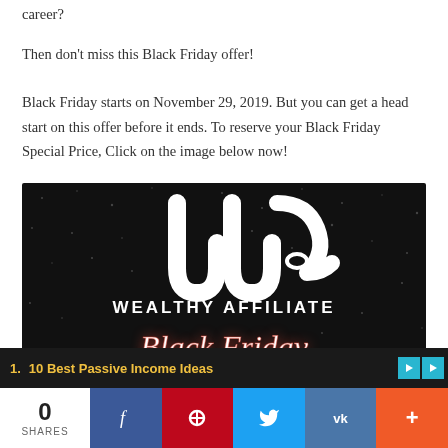career?
Then don't miss this Black Friday offer!
Black Friday starts on November 29, 2019. But you can get a head start on this offer before it ends. To reserve your Black Friday Special Price, Click on the image below now!
[Figure (logo): Wealthy Affiliate logo on dark starfield background with 'WEALTHY AFFILIATE' text and 'Black Friday' in cursive below]
1. 10 Best Passive Income Ideas
0 SHARES
Social share buttons: Facebook, Pinterest, Twitter, VK, More